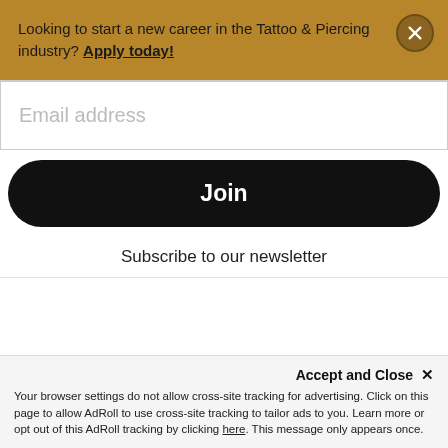Looking to start a new career in the Tattoo & Piercing industry? Apply today!
Email address
Join
Subscribe to our newsletter
Accept and Close ×
Your browser settings do not allow cross-site tracking for advertising. Click on this page to allow AdRoll to use cross-site tracking to tailor ads to you. Learn more or opt out of this AdRoll tracking by clicking here. This message only appears once.